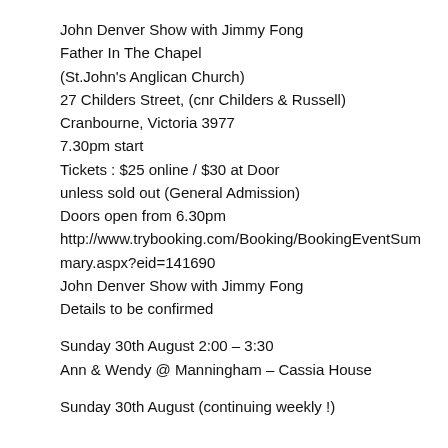John Denver Show with Jimmy Fong
Father In The Chapel
(St.John's Anglican Church)
27 Childers Street, (cnr Childers & Russell)
Cranbourne, Victoria 3977
7.30pm start
Tickets : $25 online / $30 at Door
unless sold out (General Admission)
Doors open from 6.30pm
http://www.trybooking.com/Booking/BookingEventSummary.aspx?eid=141690
John Denver Show with Jimmy Fong
Details to be confirmed
Sunday 30th August 2:00 – 3:30
Ann & Wendy @ Manningham – Cassia House
Sunday 30th August (continuing weekly !)